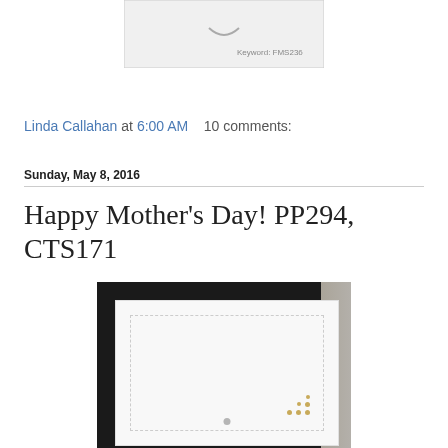[Figure (screenshot): Partial image of a sketch/template with text 'Keyword: FMS236' visible at bottom]
Linda Callahan at 6:00 AM    10 comments:
Sunday, May 8, 2016
Happy Mother's Day! PP294, CTS171
[Figure (photo): Photograph of a white handmade card with stitched border die-cut layered panels and small gold dot embellishments in lower right corner, photographed against a bright window]